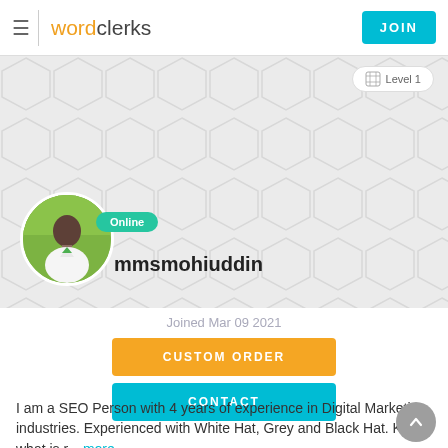wordclerks | JOIN
[Figure (screenshot): User profile banner with hexagon background pattern, Level 1 badge, circular profile photo of a man outdoors, Online status badge, and username mmsmohiuddin]
Online
mmsmohiuddin
Joined Mar 09 2021
CUSTOM ORDER
CONTACT
I am a SEO Person with 4 years of experience in Digital Marketing industries. Experienced with White Hat, Grey and Black Hat. Know what is r... more